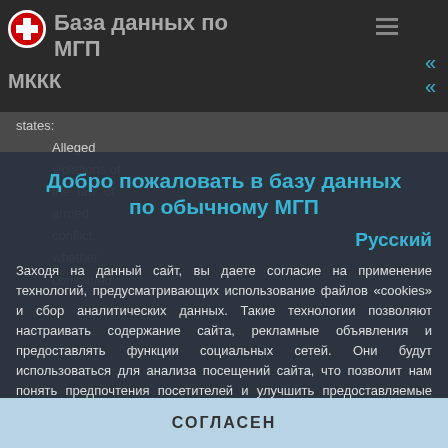База данных по МГП — МККК
states:
Alleged violations of the law of armed conflict, whether committed
Добро пожаловать в базу данных по обычному МГП
Русский
Заходя на данный сайт, вы даете согласие на применение технологий, предусматривающих использование файлов «cookies» и сбор аналитических данных. Такие технологии позволяют настраивать содержание сайта, рекламные объявления и предоставлять функции социальных сетей. Они будут использоваться для анализа посещений сайта, что позволит нам понять предпочтения посетителей и улучшить предоставляемые услуги. Узнать больше
СОГЛАСЕН